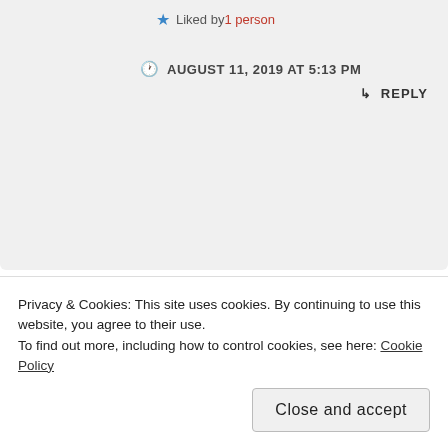Liked by 1 person
AUGUST 11, 2019 AT 5:13 PM
↳ REPLY
[Figure (photo): Circular avatar photo of a person with long dark hair, bordered with red circle]
Erin @ Cracker Crumb Life
We love it lol! It follows different farmers all
Privacy & Cookies: This site uses cookies. By continuing to use this website, you agree to their use. To find out more, including how to control cookies, see here: Cookie Policy
Close and accept